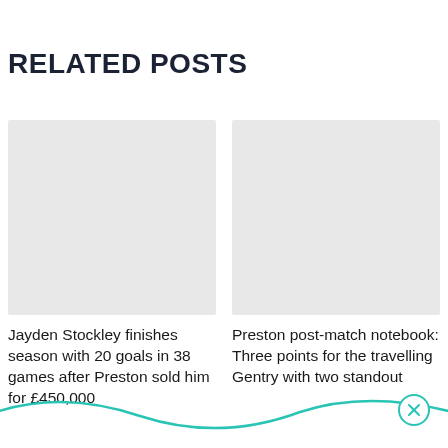RELATED POSTS
[Figure (photo): Placeholder image for related post: Jayden Stockley finishes season with 20 goals in 38 games after Preston sold him for £450,000]
Jayden Stockley finishes season with 20 goals in 38 games after Preston sold him for £450,000
[Figure (photo): Placeholder image for related post: Preston post-match notebook: Three points for the travelling Gentry with two standout]
Preston post-match notebook: Three points for the travelling Gentry with two standout